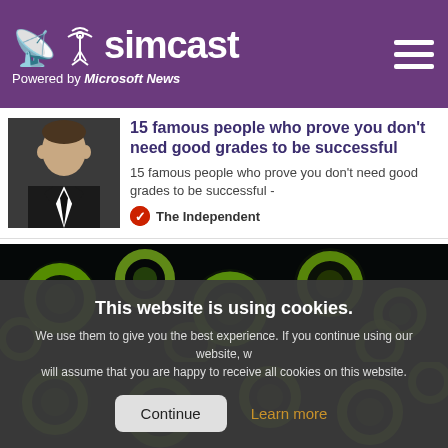simcast — Powered by Microsoft News
15 famous people who prove you don't need good grades to be successful
15 famous people who prove you don't need good grades to be successful -
The Independent
[Figure (photo): Microscopy image showing green fluorescent cells on black background]
This website is using cookies. We use them to give you the best experience. If you continue using our website, we will assume that you are happy to receive all cookies on this website.
[Figure (photo): Microscopy image showing green fluorescent cells on black background (bottom portion)]